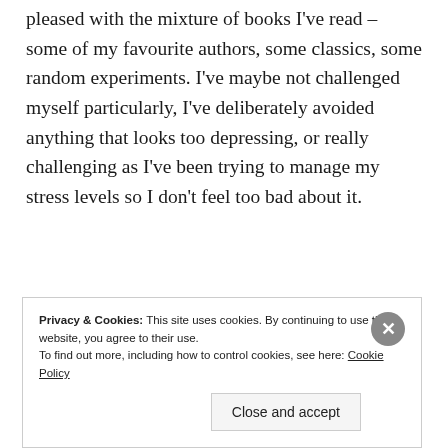pleased with the mixture of books I've read – some of my favourite authors, some classics, some random experiments. I've maybe not challenged myself particularly, I've deliberately avoided anything that looks too depressing, or really challenging as I've been trying to manage my stress levels so I don't feel too bad about it.
[Figure (other): Dark advertisement banner with blue strikethrough text reading 'money making online course.']
REPORT THIS AD
Privacy & Cookies: This site uses cookies. By continuing to use this website, you agree to their use. To find out more, including how to control cookies, see here: Cookie Policy
Close and accept